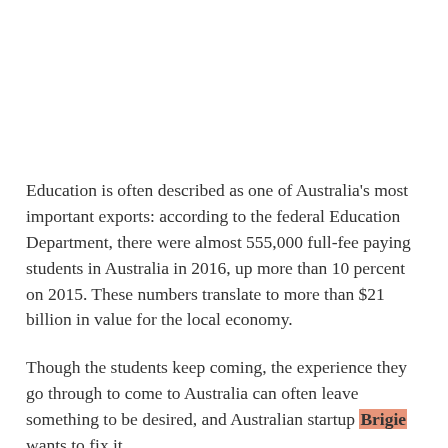Education is often described as one of Australia's most important exports: according to the federal Education Department, there were almost 555,000 full-fee paying students in Australia in 2016, up more than 10 percent on 2015. These numbers translate to more than $21 billion in value for the local economy.
Though the students keep coming, the experience they go through to come to Australia can often leave something to be desired, and Australian startup Brigie wants to fix it.
Brazilian brothers Nick, Mike, and Guilherme Borrego, now